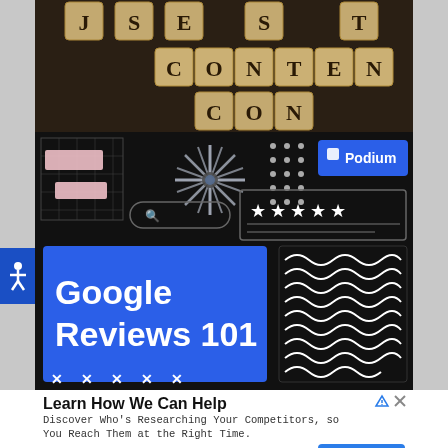[Figure (photo): Scrabble tiles spelling CONTENT on dark wooden background]
[Figure (illustration): Podium Google Reviews 101 advertisement banner with dark background, blue sections, starburst graphic, star rating box, search bar, and wavy lines graphic]
Learn How We Can Help
Discover Who's Researching Your Competitors, so You Reach Them at the Right Time.
sell.g2.com
Learn More